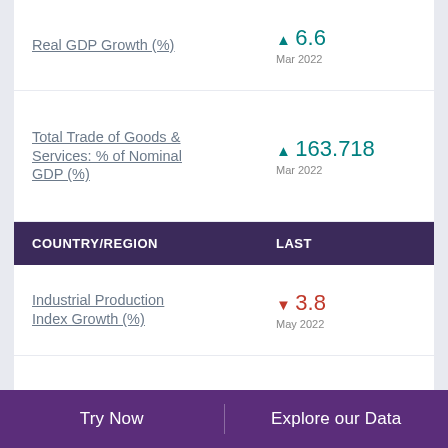Real GDP Growth (%)
Total Trade of Goods & Services: % of Nominal GDP (%)
| COUNTRY/REGION | LAST |
| --- | --- |
Industrial Production Index Growth (%)
Minerals Production (Metric Ton)
Try Now    Explore our Data